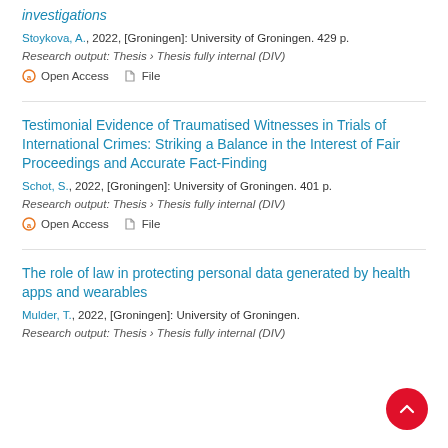investigations
Stoykova, A., 2022, [Groningen]: University of Groningen. 429 p.
Research output: Thesis › Thesis fully internal (DIV)
Open Access   File
Testimonial Evidence of Traumatised Witnesses in Trials of International Crimes: Striking a Balance in the Interest of Fair Proceedings and Accurate Fact-Finding
Schot, S., 2022, [Groningen]: University of Groningen. 401 p.
Research output: Thesis › Thesis fully internal (DIV)
Open Access   File
The role of law in protecting personal data generated by health apps and wearables
Mulder, T., 2022, [Groningen]: University of Groningen.
Research output: Thesis › Thesis fully internal (DIV)